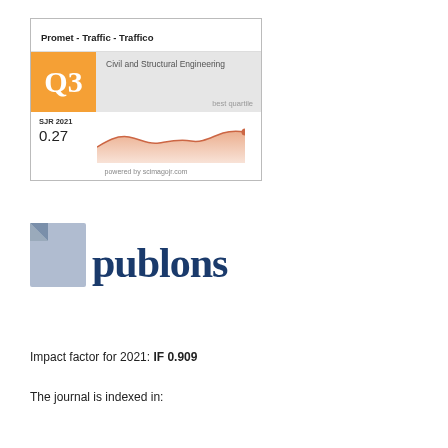[Figure (infographic): Scimago Journal Rank card for Promet - Traffic - Traffico showing Q3 in Civil and Structural Engineering, SJR 2021 = 0.27, with a trend area chart, powered by scimagojr.com]
[Figure (logo): Publons logo - stylized blue text 'publons' with a folded page icon]
Impact factor for 2021: IF 0.909
The journal is indexed in: